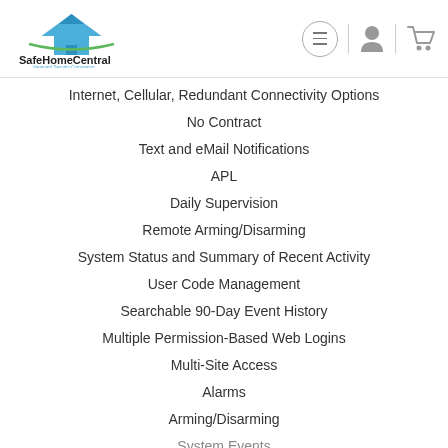SafeHomeCentral — Vanguard Security Corporation
Internet, Cellular, Redundant Connectivity Options
No Contract
Text and eMail Notifications
APL
Daily Supervision
Remote Arming/Disarming
System Status and Summary of Recent Activity
User Code Management
Searchable 90-Day Event History
Multiple Permission-Based Web Logins
Multi-Site Access
Alarms
Arming/Disarming
System Events